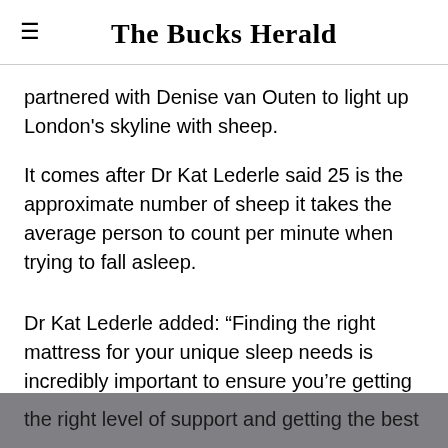The Bucks Herald
partnered with Denise van Outen to light up London’s skyline with sheep.
It comes after Dr Kat Lederle said 25 is the approximate number of sheep it takes the average person to count per minute when trying to fall asleep.
Dr Kat Lederle added: “Finding the right mattress for your unique sleep needs is incredibly important to ensure you’re getting the right level of support and getting the best